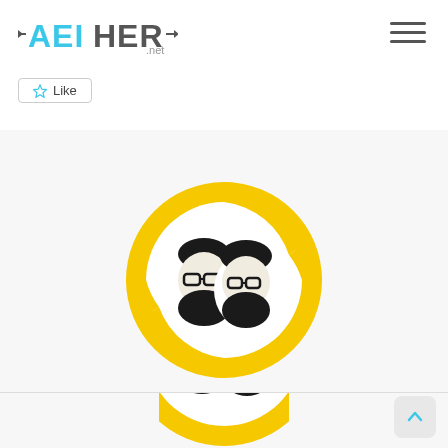AETHER.net
Like
Be the first to like this.
[Figure (logo): Circular yellow and white logo with two cartoon bearded men facing forward, styled as an illustration]
[Figure (logo): Partial circular yellow logo with two cartoon bearded men, cropped at bottom of page]